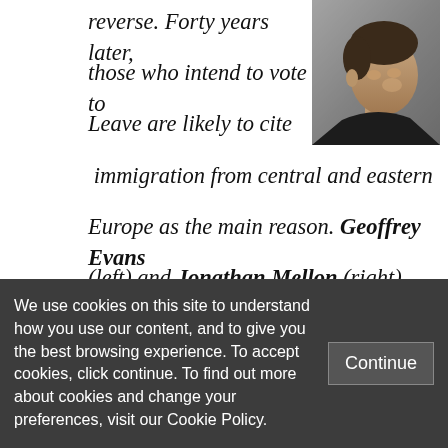[Figure (photo): Portrait photo of a young man in a dark shirt, photographed from the side/three-quarter view]
reverse. Forty years later, those who intend to vote to Leave are likely to cite immigration from central and eastern Europe as the main reason. Geoffrey Evans (left) and Jonathan Mellon (right) demonstrate the link.
The public has become acutely aware of
We use cookies on this site to understand how you use our content, and to give you the best browsing experience. To accept cookies, click continue. To find out more about cookies and change your preferences, visit our Cookie Policy.